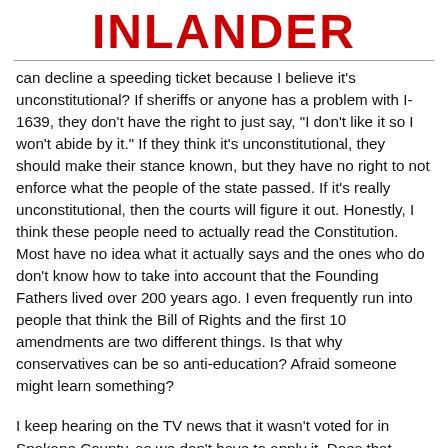INLANDER
can decline a speeding ticket because I believe it's unconstitutional? If sheriffs or anyone has a problem with I-1639, they don't have the right to just say, "I don't like it so I won't abide by it." If they think it's unconstitutional, they should make their stance known, but they have no right to not enforce what the people of the state passed. If it's really unconstitutional, then the courts will figure it out. Honestly, I think these people need to actually read the Constitution. Most have no idea what it actually says and the ones who do don't know how to take into account that the Founding Fathers lived over 200 years ago. I even frequently run into people that think the Bill of Rights and the first 10 amendments are two different things. Is that why conservatives can be so anti-education? Afraid someone might learn something?
I keep hearing on the TV news that it wasn't voted for in Spokane County, so we don't have to apply it. Does that mean that we can get rid of Cathy McMorris-Rodgers? I certainly didn't vote for her